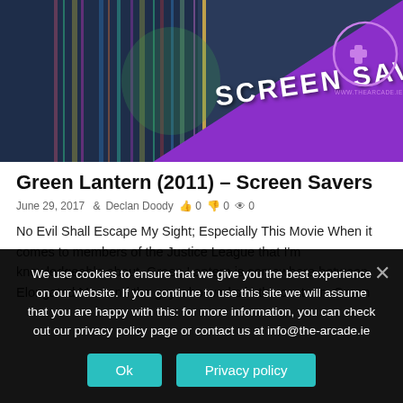[Figure (illustration): Screen Savers banner image with colorful glitchy background, purple triangle overlay, 'SCREEN SAVERS' text, gamepad logo circle, and www.thearcade.ie URL]
Green Lantern (2011) – Screen Savers
June 29, 2017  Declan Doody  0  0  0
No Evil Shall Escape My Sight; Especially This Movie When it comes to members of the Justice League that I'm knowledgeable about, Green Lantern is somewhere between Elongated Man and the guy who works in the canteen. Green
We use cookies to ensure that we give you the best experience on our website. If you continue to use this site we will assume that you are happy with this: for more information, you can check out our privacy policy page or contact us at info@the-arcade.ie